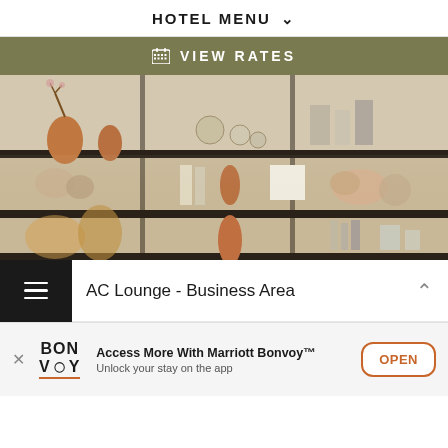HOTEL MENU
VIEW RATES
[Figure (photo): Decorative shelving unit with various objects including vases, books, sculptures, and decorative items in warm metallic and neutral tones]
AC Lounge - Business Area
Access More With Marriott Bonvoy™ Unlock your stay on the app